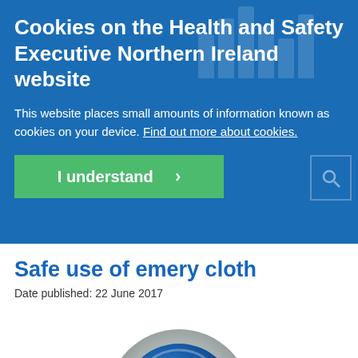Cookies on the Health and Safety Executive Northern Ireland website
This website places small amounts of information known as cookies on your device. Find out more about cookies.
I understand >
Safe use of emery cloth
Date published: 22 June 2017
[Figure (logo): Blue circular icon with white bell/shield symbol inside, with grey metallic ring border, partially visible at bottom of page]